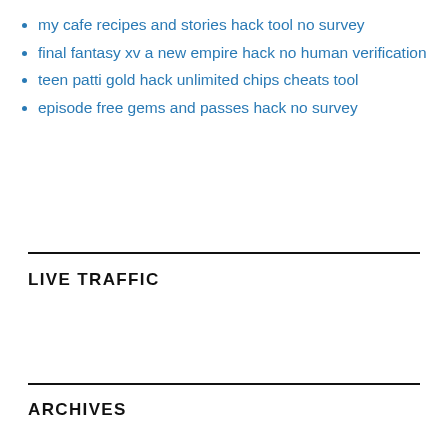my cafe recipes and stories hack tool no survey
final fantasy xv a new empire hack no human verification
teen patti gold hack unlimited chips cheats tool
episode free gems and passes hack no survey
LIVE TRAFFIC
ARCHIVES